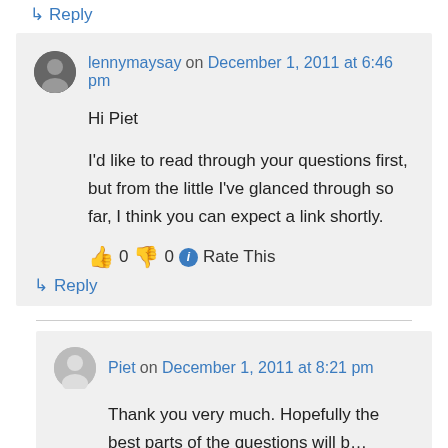↳ Reply
lennymaysay on December 1, 2011 at 6:46 pm
Hi Piet

I'd like to read through your questions first, but from the little I've glanced through so far, I think you can expect a link shortly.
👍 0 👎 0 ℹ Rate This
↳ Reply
Piet on December 1, 2011 at 8:21 pm
Thank you very much. Hopefully the best parts of the questions will be...